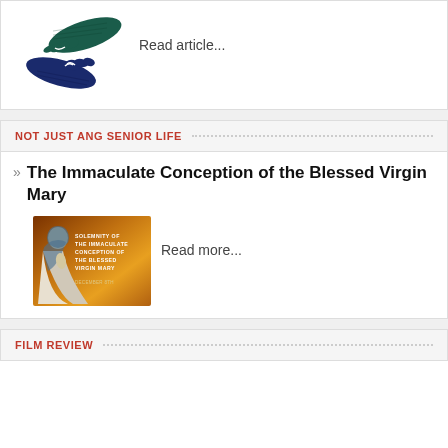[Figure (illustration): Two hands made of words/text reaching toward each other, one dark green on top and one dark blue below, forming a helping/touching hands graphic.]
Read article...
NOT JUST ANG SENIOR LIFE
The Immaculate Conception of the Blessed Virgin Mary
[Figure (photo): Image with orange/brown background showing the Solemnity of the Immaculate Conception of the Blessed Virgin Mary, December 8th. Figure of Mary praying on left side.]
Read more...
FILM REVIEW